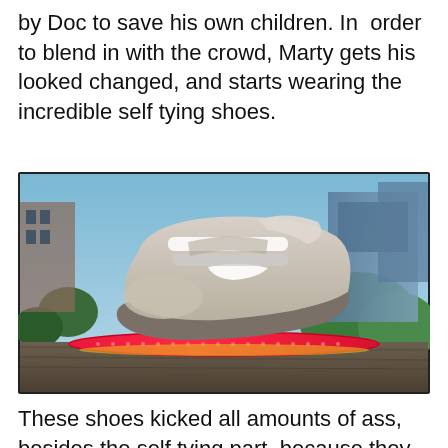by Doc to save his own children. In  order to blend in with the crowd, Marty gets his looked changed, and starts wearing the incredible self tying shoes.
[Figure (photo): A Nike self-tying shoe (Nike Mag) worn on a foot riding a pink hoverboard, hovering above a wooden surface. Background shows futuristic buildings and greenery.]
These shoes kicked all amounts of ass, besides the self tying part, because they really looked like